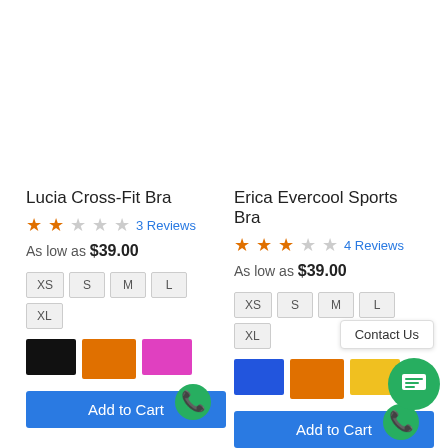Lucia Cross-Fit Bra
3 Reviews
As low as $39.00
XS
S
M
L
XL
Add to Cart
Erica Evercool Sports Bra
4 Reviews
As low as $39.00
XS
S
M
L
XL
Contact Us
Add to Cart